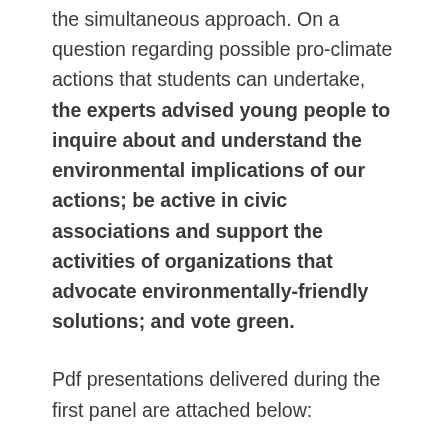the simultaneous approach. On a question regarding possible pro-climate actions that students can undertake, the experts advised young people to inquire about and understand the environmental implications of our actions; be active in civic associations and support the activities of organizations that advocate environmentally-friendly solutions; and vote green.
Pdf presentations delivered during the first panel are attached below: